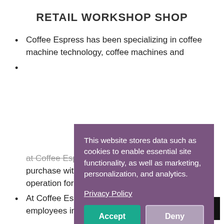RETAIL WORKSHOP SHOP
Coffee Espress has been specializing in coffee machine technology, coffee machines and [text continues behind overlay]
[partially obscured] ve [text continues behind overlay]
[partially obscured] fter [text continues behind overlay] ny at Coffee Espress. According to the motto "No purchase without enjoyment", all machines are in operation for testing and trying.
At Coffee Espress you serve competent employees in the areas of service, sales and [continues]
This website stores data such as cookies to enable essential site functionality, as well as marketing, personalization, and analytics.

Privacy Policy

[Accept] [Deny]